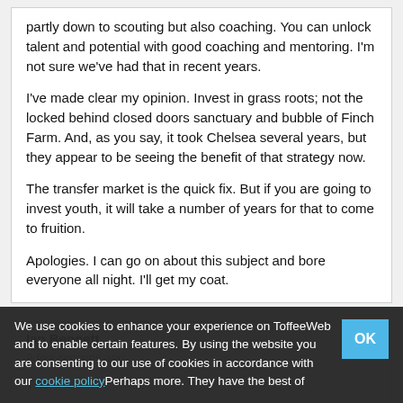partly down to scouting but also coaching. You can unlock talent and potential with good coaching and mentoring. I'm not sure we've had that in recent years.

I've made clear my opinion. Invest in grass roots; not the locked behind closed doors sanctuary and bubble of Finch Farm. And, as you say, it took Chelsea several years, but they appear to be seeing the benefit of that strategy now.

The transfer market is the quick fix. But if you are going to invest youth, it will take a number of years for that to come to fruition.

Apologies. I can go on about this subject and bore everyone all night. I'll get my coat.
Ian Bennett
We use cookies to enhance your experience on ToffeeWeb and to enable certain features. By using the website you are consenting to our use of cookies in accordance with our cookie policy